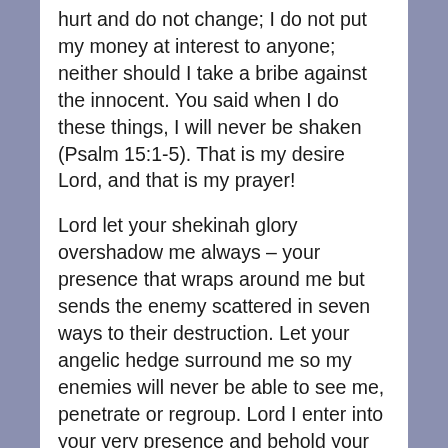hurt and do not change; I do not put my money at interest to anyone; neither should I take a bribe against the innocent. You said when I do these things, I will never be shaken (Psalm 15:1-5). That is my desire Lord, and that is my prayer!
Lord let your shekinah glory overshadow me always – your presence that wraps around me but sends the enemy scattered in seven ways to their destruction. Let your angelic hedge surround me so my enemies will never be able to see me, penetrate or regroup. Lord I enter into your very presence and behold your Face and beauty. Let the beauty of Jesus be seen in me, Lord! Deck me with fresh garments of righteousness and